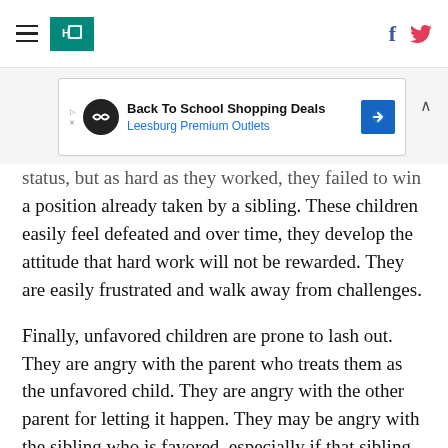HuffPost navigation and social icons header
[Figure (other): Advertisement banner: Back To School Shopping Deals - Leesburg Premium Outlets]
status, but as hard as they worked, they failed to win a position already taken by a sibling. These children easily feel defeated and over time, they develop the attitude that hard work will not be rewarded. They are easily frustrated and walk away from challenges.
Finally, unfavored children are prone to lash out. They are angry with the parent who treats them as the unfavored child. They are angry with the other parent for letting it happen. They may be angry with the sibling who is favored, especially if that sibling exploits the advantages of being favored. Unfortunately, as the child grows up, their anger is